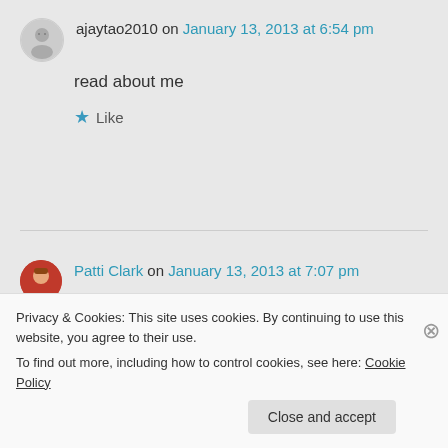ajaytao2010 on January 13, 2013 at 6:54 pm
read about me
Like
Patti Clark on January 13, 2013 at 7:07 pm
Privacy & Cookies: This site uses cookies. By continuing to use this website, you agree to their use. To find out more, including how to control cookies, see here: Cookie Policy
Close and accept